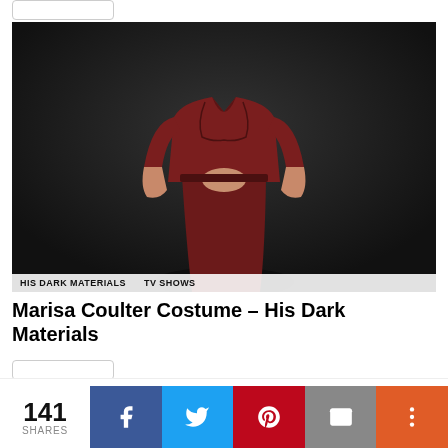[Figure (photo): Woman wearing a dark burgundy/maroon wrap dress suit (jacket and pencil skirt), posing against a dark background. Her face is cropped out of frame. Text overlay tags at bottom read HIS DARK MATERIALS and TV SHOWS.]
HIS DARK MATERIALS   TV SHOWS
Marisa Coulter Costume – His Dark Materials
This website uses cookies to improve your experience. We'll assume you're ok with this, but you can opt-out if you wish.
141 SHARES